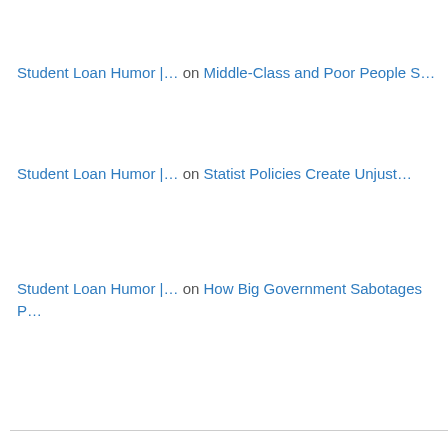Student Loan Humor |… on Middle-Class and Poor People S…
Student Loan Humor |… on Statist Policies Create Unjust…
Student Loan Humor |… on How Big Government Sabotages P…
Categories
2nd Amendment
Academic Bias
African-Americans
Al Gore
Alarmism
Argentina
Asset Forfeiture
Atlas Shrugged